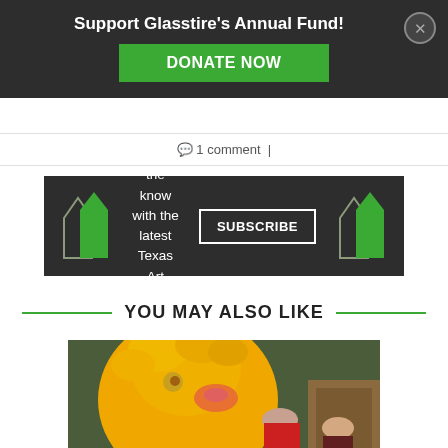Support Glasstire's Annual Fund!
DONATE NOW
1 comment
[Figure (infographic): Dark banner with Glasstire logo icons, text 'Stay in the know with the latest Texas Art News' and a SUBSCRIBE button]
YOU MAY ALSO LIKE
[Figure (photo): Big Bird character from Sesame Street with two children, a boy in a red shirt and a girl, in a set resembling Sesame Street]